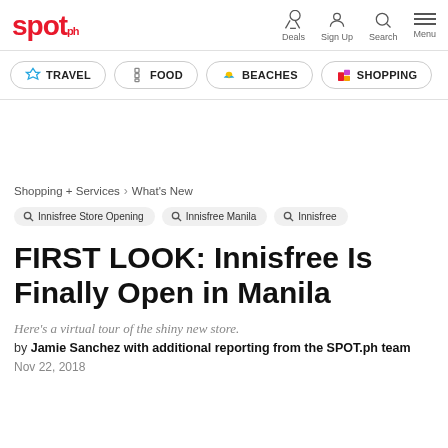spot.ph — Deals, Sign Up, Search, Menu
TRAVEL | FOOD | BEACHES | SHOPPING
Shopping + Services › What's New
Innisfree Store Opening | Innisfree Manila | Innisfree
FIRST LOOK: Innisfree Is Finally Open in Manila
Here's a virtual tour of the shiny new store.
by Jamie Sanchez with additional reporting from the SPOT.ph team
Nov 22, 2018